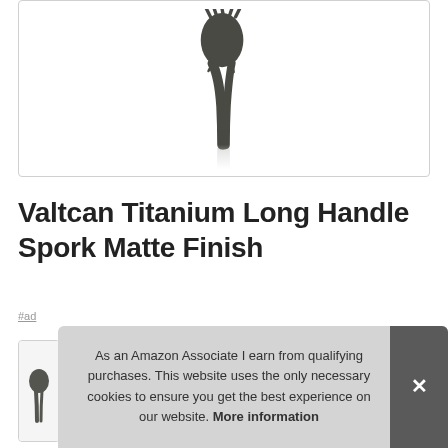[Figure (photo): A dark gray/black titanium spork with long handle shown at an angle with a faint reflection below it, on a white background inside a bordered frame.]
Valtcan Titanium Long Handle Spork Matte Finish
#ad
As an Amazon Associate I earn from qualifying purchases. This website uses the only necessary cookies to ensure you get the best experience on our website. More information
[Figure (photo): Partially visible product image at the bottom left, cropped by the cookie banner overlay. Additional thumbnail product images visible at the very bottom edge.]